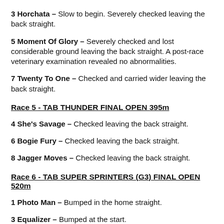3 Horchata – Slow to begin. Severely checked leaving the back straight.
5 Moment Of Glory – Severely checked and lost considerable ground leaving the back straight. A post-race veterinary examination revealed no abnormalities.
7 Twenty To One – Checked and carried wider leaving the back straight.
Race 5 - TAB THUNDER FINAL OPEN 395m
4 She's Savage – Checked leaving the back straight.
6 Bogie Fury – Checked leaving the back straight.
8 Jagger Moves – Checked leaving the back straight.
Race 6 - TAB SUPER SPRINTERS (G3) FINAL OPEN 520m
1 Photo Man – Bumped in the home straight.
3 Equalizer – Bumped at the start.
4 Impact – Bumped at the start. Checked in the first turn.
5 Dulceria – Checked in the first turn.